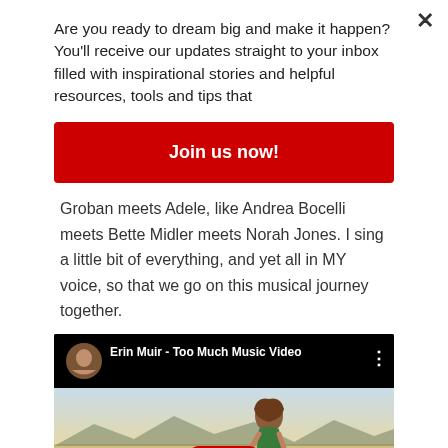Are you ready to dream big and make it happen? You'll receive our updates straight to your inbox filled with inspirational stories and helpful resources, tools and tips that
Join us now!
Groban meets Adele, like Andrea Bocelli meets Bette Midler meets Norah Jones. I sing a little bit of everything, and yet all in MY voice, so that we go on this musical journey together.
[Figure (screenshot): YouTube video embed showing 'Erin Muir - Too Much Music Video' with a woman in a green dress standing in a desert landscape, with the YouTube play button visible]